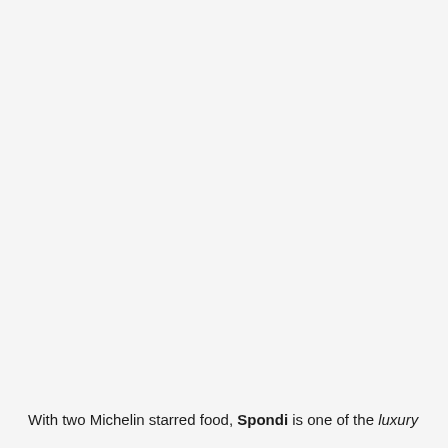With two Michelin starred food, Spondi is one of the luxury